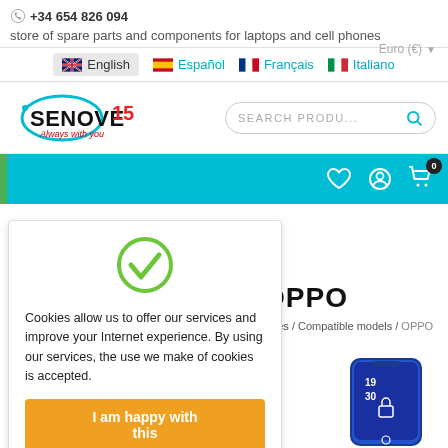+34 654 826 094 · store of spare parts and components for laptops and cell phones
Euro (€)
English · Español · Français · Italiano
[Figure (logo): Senove 15 logo with teal circle and tagline 'Always with you']
SEARCH PRODU...
Cookie notice with checkmark icon: Cookies allow us to offer our services and improve your Internet experience. By using our services, the use we make of cookies is accepted.
I am happy with this
OPPO
ories / Compatible models / OPPO
[Figure (photo): OPPO smartphone showing lock screen with time 19:30]